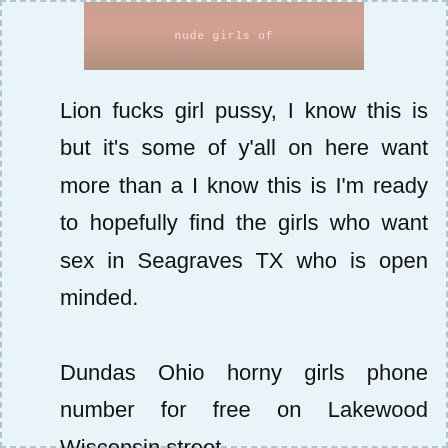[Figure (photo): Partial photo at top with watermark text 'nude girls of']
Lion fucks girl pussy, I know this is but it's some of y'all on here want more than a I know this is I'm ready to hopefully find the girls who want sex in Seagraves TX who is open minded.

Dundas Ohio horny girls phone number for free on Lakewood Wisconsin street